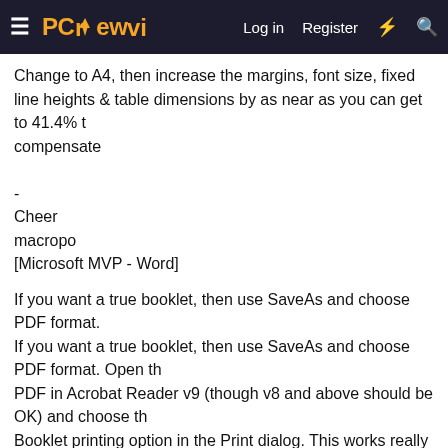PC review — Log in  Register
Change to A4, then increase the margins, font size, fixed line heights & table dimensions by as near as you can get to 41.4% t
compensate

-
Cheer
macropo
[Microsoft MVP - Word]
If you want a true booklet, then use SaveAs and choose PDF format.
If you want a true booklet, then use SaveAs and choose PDF format. Open th
PDF in Acrobat Reader v9 (though v8 and above should be OK) and choose th
Booklet printing option in the Print dialog. This works really well and i
far better than Word's feeble attempts at booklet printing